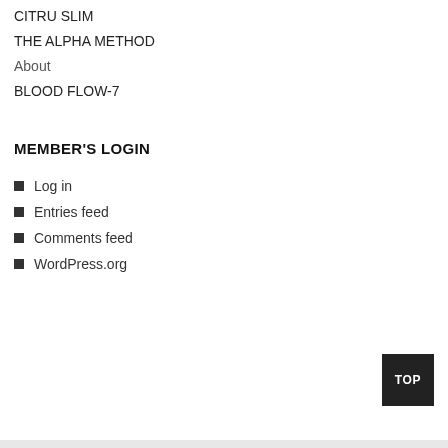CITRU SLIM
THE ALPHA METHOD
About
BLOOD FLOW-7
MEMBER'S LOGIN
Log in
Entries feed
Comments feed
WordPress.org
TOP